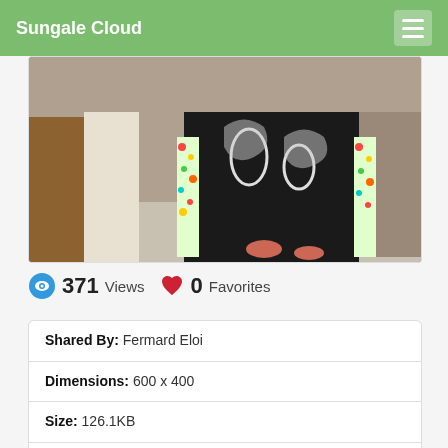Sungale Cloud
[Figure (photo): Photo of a person wearing a black and white patterned outfit with colorful floral accents, standing near a white pillar and stone wall with dried leaves on the ground.]
371 Views   0 Favorites
| Shared By: | Fermard Eloi |
| Dimensions: | 600 x 400 |
| Size: | 126.1KB |
| Date added: | 2018-11-17 |